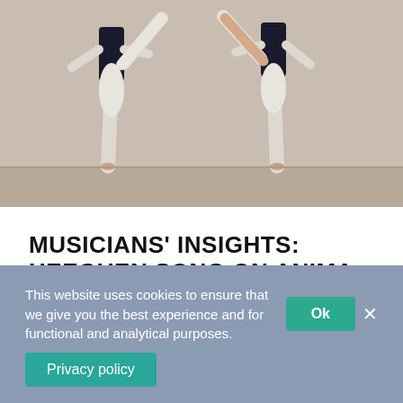[Figure (photo): Two ballet dancers in white leotards performing on stage, standing on pointe with legs raised high]
MUSICIANS' INSIGHTS: HEEGUEN SONG ON ANIMA ANIMUS
The insider experience of Bosso's music >>
VIDEO
This website uses cookies to ensure that we give you the best experience and for functional and analytical purposes.
Ok
Privacy policy